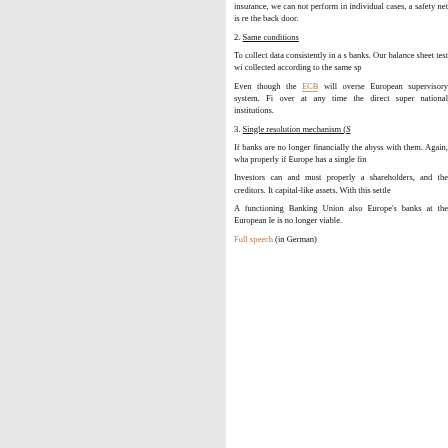insurance, we can not perform in individual cases, a safety net is re the back door.
2. Same conditions
To collect data consistently in a s banks. Our balance sheet test wi collected according to the same sp
Even though the ECB will overse European supervisory system. Fi over at any time the direct super national institutions.
3. Single resolution mechanism (S
If banks are no longer financially the abyss with them. Again, wha properly if Europe has a single fin
Investors can and must properly a shareholders, and the creditors. It capital-like assets. With this settle
A functioning Banking Union also Europe's banks at the European le is no longer viable.
Full speech (in German)